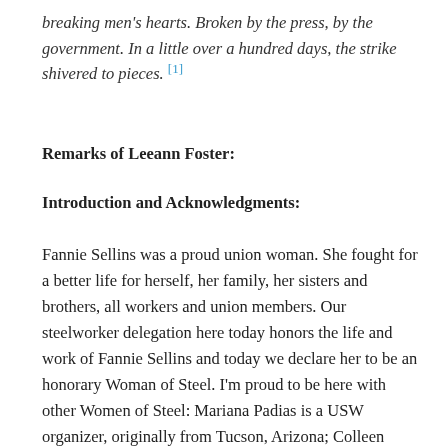breaking men's hearts. Broken by the press, by the government. In a little over a hundred days, the strike shivered to pieces. [1]
Remarks of Leeann Foster:
Introduction and Acknowledgments:
Fannie Sellins was a proud union woman. She fought for a better life for herself, her family, her sisters and brothers, all workers and union members. Our steelworker delegation here today honors the life and work of Fannie Sellins and today we declare her to be an honorary Woman of Steel. I'm proud to be here with other Women of Steel: Mariana Padias is a USW organizer, originally from Tucson, Arizona; Colleen Wooten is a USW district 10 staff representative who was unit president out of Express Strips in North Huntington; Keli Vereb works for USSteel